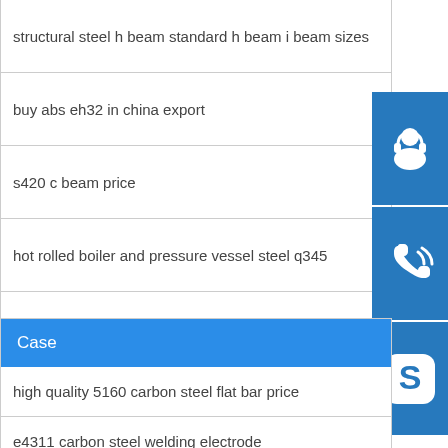structural steel h beam standard h beam i beam sizes
buy abs eh32 in china export
s420 c beam price
hot rolled boiler and pressure vessel steel q345
a283 c not working
[Figure (illustration): Three blue icon boxes stacked vertically on the right side: customer service headset icon, phone/call icon, and Skype icon]
Case
high quality 5160 carbon steel flat bar price
e4311 carbon steel welding electrode